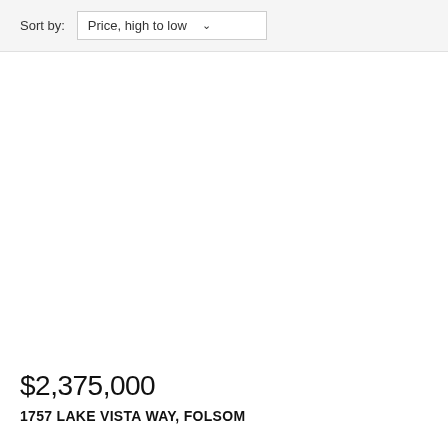Sort by: Price, high to low
[Figure (photo): Property listing photo area (blank/white image placeholder)]
$2,375,000
1757 LAKE VISTA WAY, FOLSOM